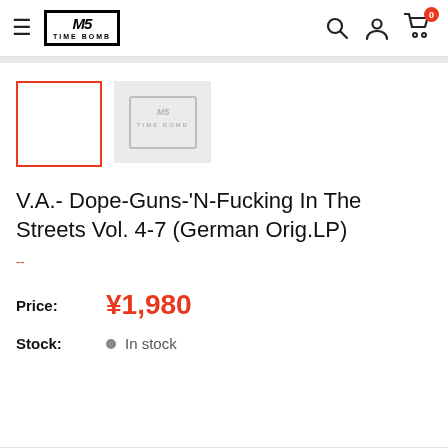TIME BOMB — navigation header with logo, search, account, cart (0)
[Figure (screenshot): Two product thumbnail images: first selected with red border (empty/white), second showing faded TIME BOMB logo placeholder]
V.A.- Dope-Guns-'N-Fucking In The Streets Vol. 4-7 (German Orig.LP)
--
Price: ¥1,980
Stock: In stock